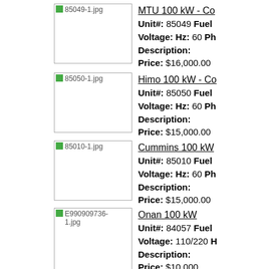[Figure (photo): Product image placeholder for unit 85049, filename 85049-1.jpg]
MTU 100 kW - Co...
Unit#: 85049 Fuel...
Voltage: Hz: 60 Ph...
Description:
Price: $16,000.00
[Figure (photo): Product image placeholder for unit 85050, filename 85050-1.jpg]
Himo 100 kW - Co...
Unit#: 85050 Fuel...
Voltage: Hz: 60 Ph...
Description:
Price: $15,000.00
[Figure (photo): Product image placeholder for unit 85010, filename 85010-1.jpg]
Cummins 100 kW...
Unit#: 85010 Fuel...
Voltage: Hz: 60 Ph...
Description:
Price: $15,000.00
[Figure (photo): Product image placeholder for unit 84057, filename E990909736-1.jpg]
Onan 100 kW
Unit#: 84057 Fuel...
Voltage: 110/220 H...
Description:
Price: $10,000...